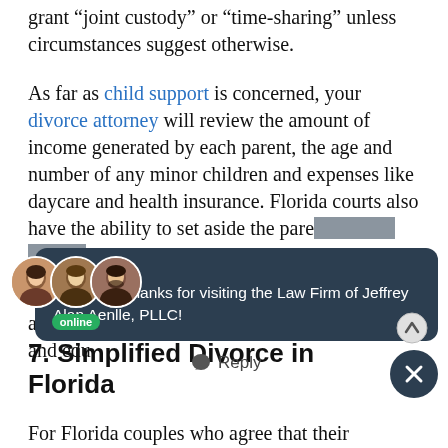grant “joint custody” or “time-sharing” unless circumstances suggest otherwise.
As far as child support is concerned, your divorce attorney will review the amount of income generated by each parent, the age and number of any minor children and expenses like daycare and health insurance. Florida courts also have the ability to set aside the pare[nting plan] an[d consider] edu[cation]
[Figure (screenshot): Chat widget overlay with avatars of three law firm staff members, an 'online' green badge, a dark navy chat bubble saying 'Hello, and thanks for visiting the Law Firm of Jeffrey Alan Aenlle, PLLC!', a Reply button, an up-arrow scroll button, and a close (X) button.]
7. Simplified Divorce in Florida
For Florida couples who agree that their